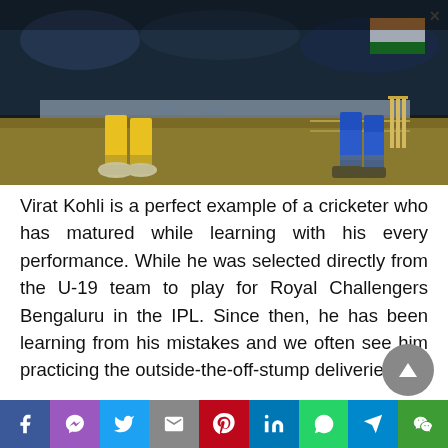[Figure (photo): Cricket match photo showing players' legs near the stumps. One player in yellow trousers and white shoes (bowler/fielder), another in blue uniform near the wicket stumps, with a blurred crowd and an orange/white/green flag in the background.]
Virat Kohli is a perfect example of a cricketer who has matured while learning with his every performance. While he was selected directly from the U-19 team to play for Royal Challengers Bengaluru in the IPL. Since then, he has been learning from his mistakes and we often see him practicing the outside-the-off-stump deliveries,
[Figure (other): Social sharing toolbar with icons for Facebook, Messenger, Twitter, Gmail, Pinterest, LinkedIn, WhatsApp, Telegram, and WeChat]